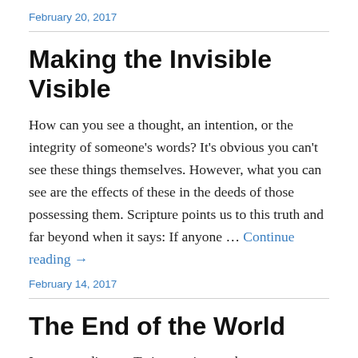February 20, 2017
Making the Invisible Visible
How can you see a thought, an intention, or the integrity of someone's words? It's obvious you can't see these things themselves. However, what you can see are the effects of these in the deeds of those possessing them. Scripture points us to this truth and far beyond when it says: If anyone … Continue reading →
February 14, 2017
The End of the World
It was trending on Twitter so it must be true: